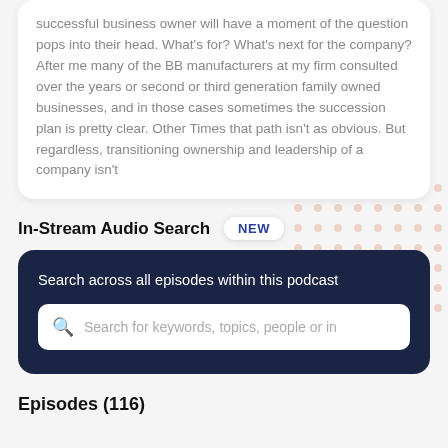successful business owner will have a moment of the question pops into their head. What's for? What's next for the company? After me many of the BB manufacturers at my firm consulted over the years or second or third generation family owned businesses, and in those cases sometimes the succession plan is pretty clear. Other Times that path isn't as obvious. But regardless, transitioning ownership and leadership of a company isn't
In-Stream Audio Search NEW
Search across all episodes within this podcast
Search for keywords, topics, people or in
Episodes (116)